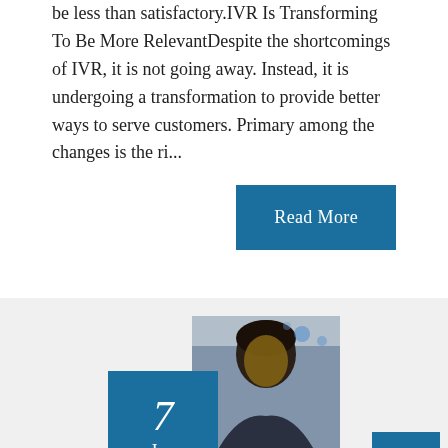be less than satisfactory.IVR Is Transforming To Be More RelevantDespite the shortcomings of IVR, it is not going away. Instead, it is undergoing a transformation to provide better ways to serve customers. Primary among the changes is the ri...
Read More
[Figure (photo): Portrait photo of a person, partially obscured by a blue date box overlay showing '7 Jan']